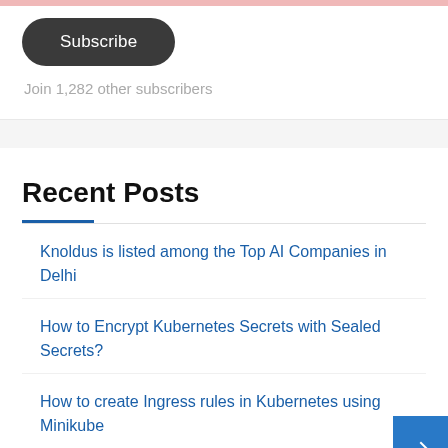[Figure (other): Subscribe button - dark rounded pill-shaped button with white text]
Join 1,282 other subscribers
Recent Posts
Knoldus is listed among the Top AI Companies in Delhi
How to Encrypt Kubernetes Secrets with Sealed Secrets?
How to create Ingress rules in Kubernetes using Minikube